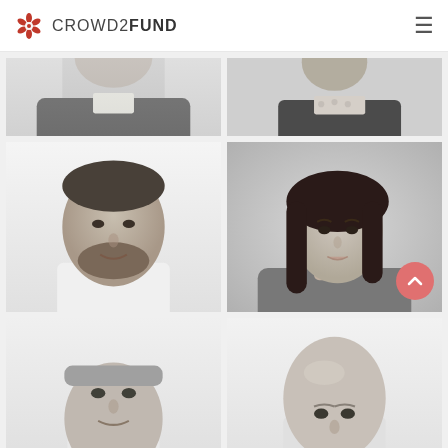CROWD2FUND
[Figure (photo): Cropped black-and-white headshot of a man in a dark jacket, top portion only]
[Figure (photo): Cropped black-and-white headshot of a woman in a dark blazer, top portion only]
[Figure (photo): Black-and-white portrait of a man with beard in a white shirt]
[Figure (photo): Black-and-white portrait of a young woman with long dark hair]
[Figure (photo): Partial black-and-white portrait of a man with short grey hair]
[Figure (photo): Partial black-and-white portrait of a bald man]